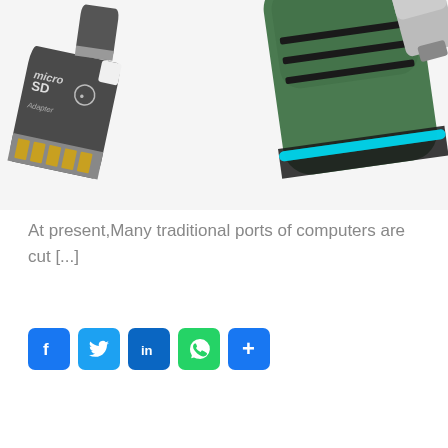[Figure (photo): Product photo showing a green USB hub device with cyan LED lighting, a micro SD adapter card, a small micro SD card, and a gray USB thumb drive against a light gray/white background.]
At present,Many traditional ports of computers are cut [...]
[Figure (infographic): Social media share buttons: Facebook (blue f), Twitter (blue bird), LinkedIn (blue in), WhatsApp (green phone), and Share (blue +)]